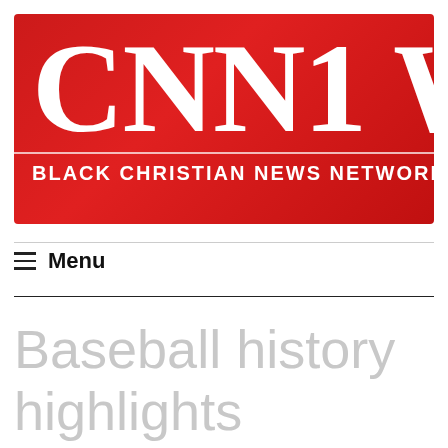[Figure (logo): CNN1 W (Black Christian News Network) logo on red background, partial text visible]
≡ Menu
Baseball history highlights